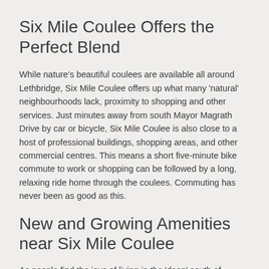Six Mile Coulee Offers the Perfect Blend
While nature's beautiful coulees are available all around Lethbridge, Six Mile Coulee offers up what many 'natural' neighbourhoods lack, proximity to shopping and other services. Just minutes away from south Mayor Magrath Drive by car or bicycle, Six Mile Coulee is also close to a host of professional buildings, shopping areas, and other commercial centres. This means a short five-minute bike commute to work or shopping can be followed by a long, relaxing ride home through the coulees. Commuting has never been as good as this.
New and Growing Amenities near Six Mile Coulee
As people find the joys of living in the 'deep' south of